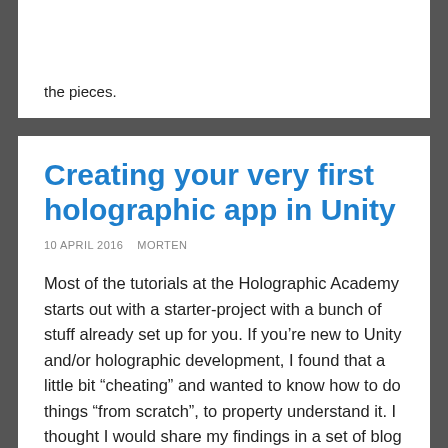the pieces.
Creating your very first holographic app in Unity
10 APRIL 2016   MORTEN
Most of the tutorials at the Holographic Academy starts out with a starter-project with a bunch of stuff already set up for you. If you’re new to Unity and/or holographic development, I found that a little bit “cheating” and wanted to know how to do things “from scratch”, to property understand it. I thought I would share my findings in a set of blog posts – they will